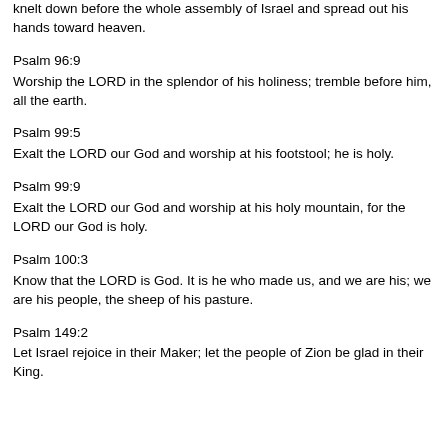knelt down before the whole assembly of Israel and spread out his hands toward heaven.
Psalm 96:9
Worship the LORD in the splendor of his holiness; tremble before him, all the earth.
Psalm 99:5
Exalt the LORD our God and worship at his footstool; he is holy.
Psalm 99:9
Exalt the LORD our God and worship at his holy mountain, for the LORD our God is holy.
Psalm 100:3
Know that the LORD is God. It is he who made us, and we are his; we are his people, the sheep of his pasture.
Psalm 149:2
Let Israel rejoice in their Maker; let the people of Zion be glad in their King.